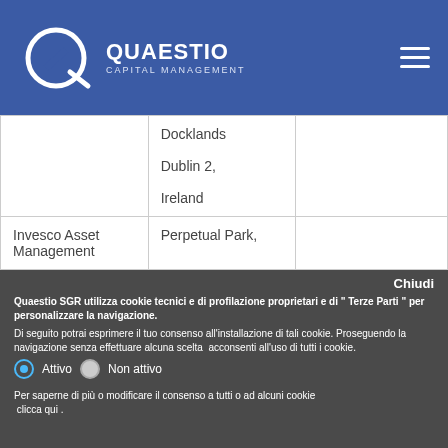Quaestio Capital Management
|  | Docklands
Dublin 2,
Ireland |  |  |
| Invesco Asset Management | Perpetual Park, |  | MSC EUR |
Chiudi
Quaestio SGR utilizza cookie tecnici e di profilazione proprietari e di " Terze Parti " per personalizzare la navigazione.
Di seguito potrai esprimere il tuo consenso all'installazione di tali cookie. Proseguendo la navigazione senza effettuare alcuna scelta  acconsenti all'uso di tutti i cookie.
Attivo  Non attivo
Per saperne di più o modificare il consenso a tutti o ad alcuni cookie  clicca qui .